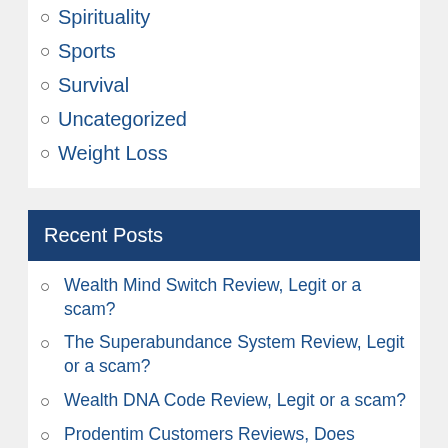Spirituality
Sports
Survival
Uncategorized
Weight Loss
Recent Posts
Wealth Mind Switch Review, Legit or a scam?
The Superabundance System Review, Legit or a scam?
Wealth DNA Code Review, Legit or a scam?
Prodentim Customers Reviews, Does Prodentim really work?
Trump Bucks Reviews, What to know before buy?
Golden Trump Checks Reviews, Don't buy before read!
Fluxactive Complete Reviews, Healthy prostate supplement or a scam?